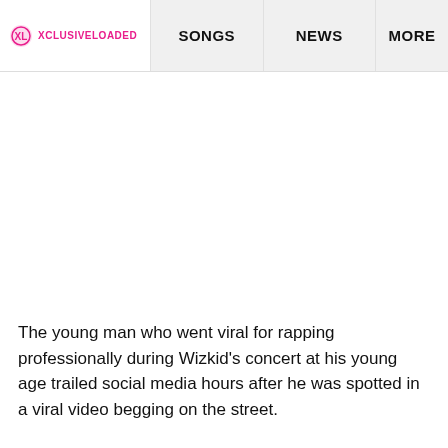XCLUSIVELOADED | SONGS | NEWS | MORE
The young man who went viral for rapping professionally during Wizkid's concert at his young age trailed social media hours after he was spotted in a viral video begging on the street.